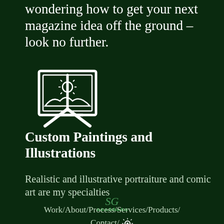wondering how to get your next magazine idea off the ground – look no further.
[Figure (illustration): Icon of a painting on an easel with a sun and hills design, rendered in white outline style on dark green background]
Custom Paintings and Illustrations
Realistic and illustrative portraiture and comic art are my specialties
[Figure (logo): SG logo with green decorative leaf/grass design beneath the letters]
Work/About/Process/Services/Products/ Contact/